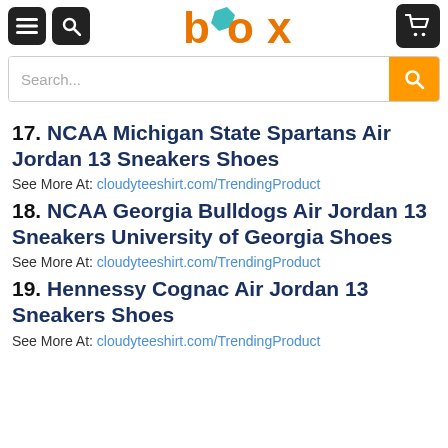box (logo) with menu, search, and cart icons
17. NCAA Michigan State Spartans Air Jordan 13 Sneakers Shoes
See More At: cloudyteeshirt.com/TrendingProduct
18. NCAA Georgia Bulldogs Air Jordan 13 Sneakers University of Georgia Shoes
See More At: cloudyteeshirt.com/TrendingProduct
19. Hennessy Cognac Air Jordan 13 Sneakers Shoes
See More At: cloudyteeshirt.com/TrendingProduct